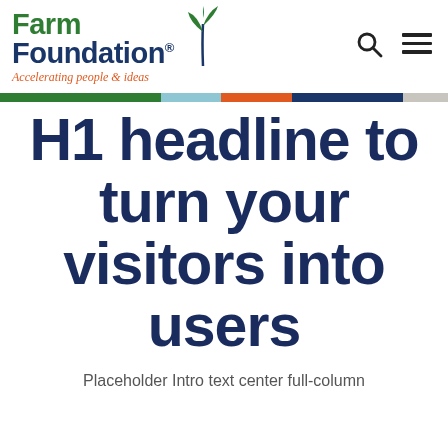[Figure (logo): Farm Foundation logo with stylized plant/leaf icon, tagline 'Accelerating people & ideas', and navigation icons (search, hamburger menu)]
H1 headline to turn your visitors into users
Placeholder Intro text center full-column